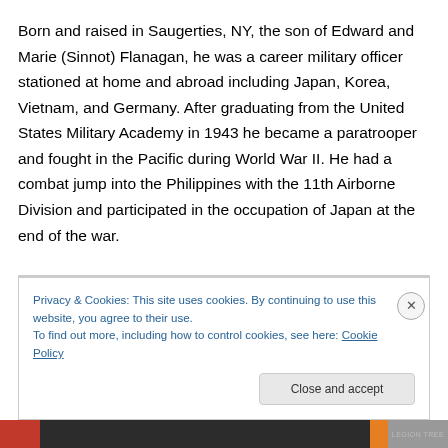Born and raised in Saugerties, NY, the son of Edward and Marie (Sinnot) Flanagan, he was a career military officer stationed at home and abroad including Japan, Korea, Vietnam, and Germany. After graduating from the United States Military Academy in 1943 he became a paratrooper and fought in the Pacific during World War II. He had a combat jump into the Philippines with the 11th Airborne Division and participated in the occupation of Japan at the end of the war.

He met his wife, Marguerite Farrell while on leave from
Privacy & Cookies: This site uses cookies. By continuing to use this website, you agree to their use.
To find out more, including how to control cookies, see here: Cookie Policy
Close and accept